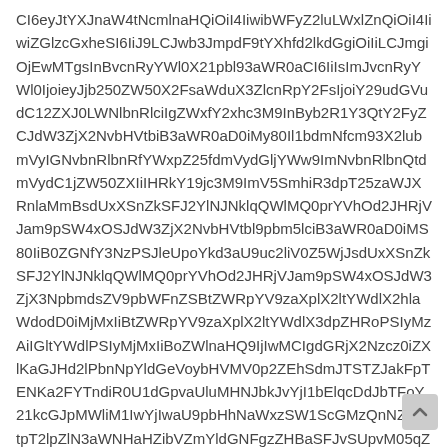CI6eyJtYXJnaW4tNcmlnaHQiOiI4IiwibWFyZ2luLWxlZnQiOiI4IiwiZGlzcGxheSI6IiJ9LCJwb3JmpdF9tYXhfd2lkdGgiOiIiLCJmgiOjEwMTgsInBvcnRyYWl0X21pbl93aWR0aCI6IiIsImJvcnRyYWl0IjoieyJjb250ZW50X2FsaWduX3ZlcnRpY2FsIjoiY29udGVudC12ZXJ0LWNlbnRlciIgZWxfY2xhc3M9InByb2R1Y3QtY2FyZCJdW3ZjX2NvbHVtbiB3aWR0aD0iMy80Il1bdmNfcm93X2lubmVyIGNvbnRlbnRfYWxpZ25fdmVydGljYWw9ImNvbnRlbnQtdmVydC1jZW50ZXIiIHRkY19jc3M9ImV5SmhiR3dpT25zaWJXRnlaMmx1TFdKdmRIUnZiU0k2SWpBaUxDSmthWE53YkdGNUlqb2lJbjE5Il1bdmNfY29sdW1uX2lubmVyIHdpZHRoPSIxLzQiIHRkY19jc3M9ImV5SmhiR3dpT25zaWJXRnlaMmx1TFdKdmRIUnZiU0k2SWpBaUxDSmthWE53YkdGNUlqb2lJbjE5Il1bdmNfc2luZ2xlX2ltYWdlIG1lZGlhX3NpemVfaW1hZ2VfaGVpZ2h0PSIyMzEiIG1lZGlhX3NpemVfaW1hZ2Vfd2lkdGg9IjIzMCIgaW1hZ2U9IjIyMzEiIGhlaWdodD0iMjAwIiB0ZGNfY3NzPSJleUpoYkd3aU9uc2liV0Z5WjJsdUxXSnZkSFJ2YlNJNklqQWlMQ0prYVhOd2JHRTV0am9pSW4wc0luQm9iMjVsSWpwN0ltMWhjbWRwYmkxaWIzUjBiMjBpT2lseE1pbHNJbVJwYzNCc1lYa2lPaWlmU3dpY0dodmJtVmZiV0Y0WDNkcFpIUm9JSm8zTmpkOSIgc2l6ZT0iY29udGFpbiJdWy92Y19jb2x1bW5faW5uZXJdW3ZjX2NvbHVtbl9pbm5lciB3aWR0aD0iMy80Ig==